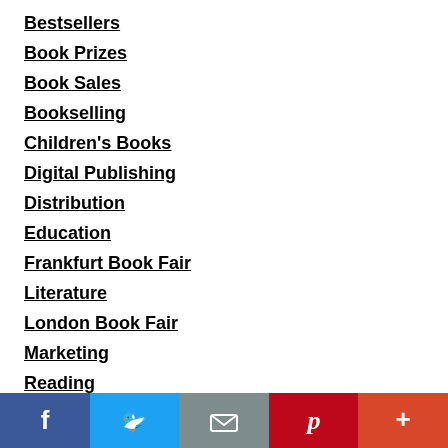Bestsellers
Book Prizes
Book Sales
Bookselling
Children's Books
Digital Publishing
Distribution
Education
Frankfurt Book Fair
Literature
London Book Fair
Marketing
Reading
Rights
Statistics
Translation
Writing
[Figure (infographic): Social sharing bar at the bottom with five buttons: Facebook (blue), Twitter (light blue), Email (gray), Pinterest (red), More (dark red/orange). Each button shows an icon in white.]